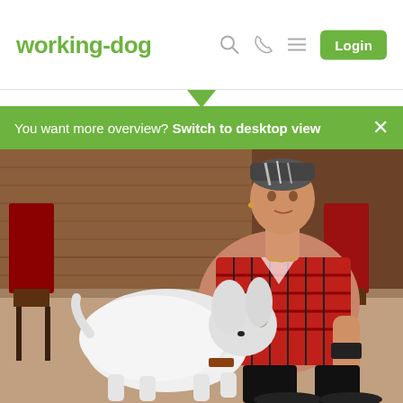working-dog
You want more overview? Switch to desktop view
[Figure (photo): A woman in a red plaid shirt crouching behind a white fluffy Chinese Crested Powderpuff dog at what appears to be a dog show indoors. Chairs and wooden paneling are visible in the background.]